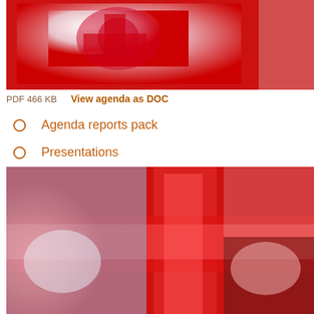[Figure (photo): Blurred red and white image, appears to be a document cover or official logo with red cross motif]
PDF 466 KB    View agenda as DOC
Agenda reports pack
Presentations
[Figure (photo): Blurred red cross / red and white image, appears to be an official document or flag with red cross motif]